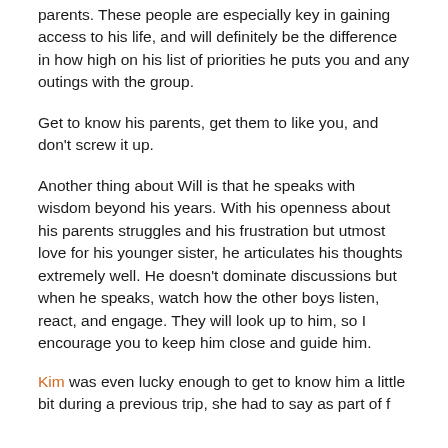parents. These people are especially key in gaining access to his life, and will definitely be the difference in how high on his list of priorities he puts you and any outings with the group.
Get to know his parents, get them to like you, and don't screw it up.
Another thing about Will is that he speaks with wisdom beyond his years. With his openness about his parents struggles and his frustration but utmost love for his younger sister, he articulates his thoughts extremely well. He doesn't dominate discussions but when he speaks, watch how the other boys listen, react, and engage. They will look up to him, so I encourage you to keep him close and guide him.
Kim was even lucky enough to get to know him a little bit during a previous trip, she had to say as part of f